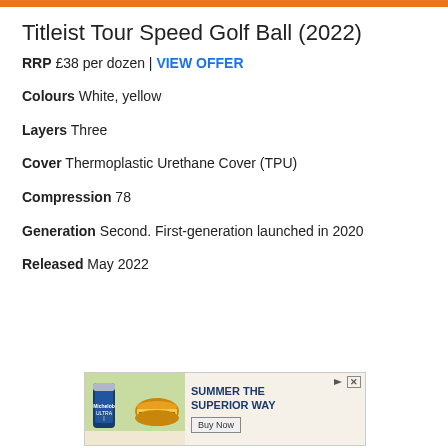Titleist Tour Speed Golf Ball (2022)
RRP £38 per dozen | VIEW OFFER
Colours White, yellow
Layers Three
Cover Thermoplastic Urethane Cover (TPU)
Compression 78
Generation Second. First-generation launched in 2020
Released May 2022
[Figure (photo): Advertisement banner: Beer can (Michelob ULTRA) with burger image, text 'SUMMER THE SUPERIOR WAY' with 'Buy Now' button]